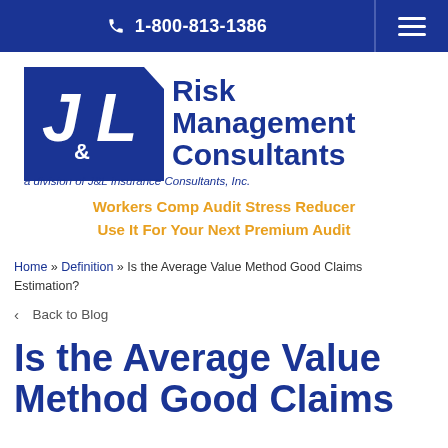1-800-813-1386
[Figure (logo): J&L Risk Management Consultants logo — stylized J&L letters in blue with text 'Risk Management Consultants' and tagline 'a division of J&L Insurance Consultants, Inc.']
Workers Comp Audit Stress Reducer
Use It For Your Next Premium Audit
Home » Definition » Is the Average Value Method Good Claims Estimation?
< Back to Blog
Is the Average Value Method Good Claims